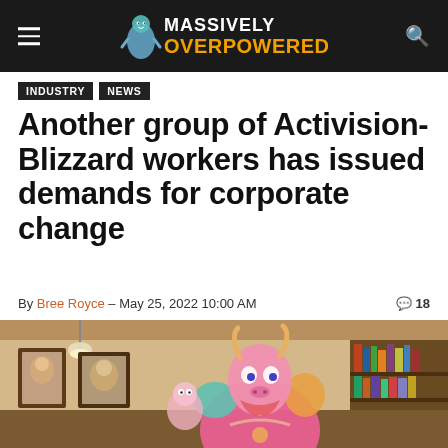Massively Overpowered
INDUSTRY
NEWS
Another group of Activision-Blizzard workers has issued demands for corporate change
By Bree Royce – May 25, 2022 10:00 AM   💬 18
[Figure (photo): Colorful stylized game character figure resembling a fantastical armored cow/beast in pink and teal, displayed in a warmly lit room with framed artwork on the walls and bookshelves in the background.]